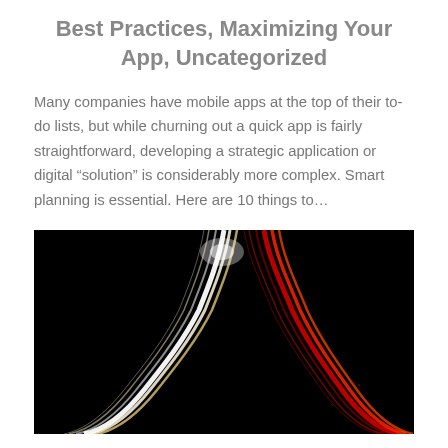Best Practices, Maximizing Your App, Uncategorized
Many companies have mobile apps at the top of their to-do lists, but while churning out a quick app is fairly straightforward, developing a strategic application or digital “solution” is considerably more complex. Smart planning is essential. Here are 10 things to…
[Figure (photo): Long-exposure night photo of highway traffic light trails — white/yellow streaks on the left curve and red streaks on the right, against a black background.]